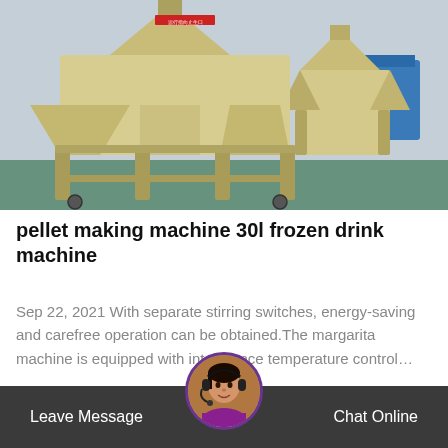[Figure (photo): Industrial cone crusher / pellet making machines in a factory setting, cream/yellow colored heavy machinery on green floor]
pellet making machine 30l frozen drink machine
Sep 22, 2021 With separate stirring switches, energy-saving and carefree operation can be obtained.The margarita machine is equipped with intelligence temperature control…
Chat Online
Leave Message   Chat Online